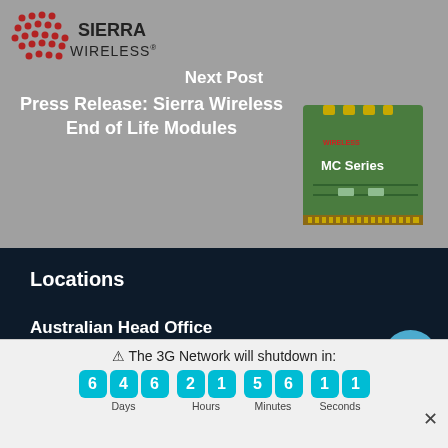[Figure (logo): Sierra Wireless logo with red dot-pattern icon and 'SIERRA WIRELESS' text]
Next Post
Press Release: Sierra Wireless End of Life Modules
[Figure (photo): Sierra Wireless MC Series mini PCIe card — green circuit board with gold connectors]
Locations
Australian Head Office
Phone: +61 2 8378 3650
⚠ The 3G Network will shutdown in: 646 Days 21 Hours 56 Minutes 11 Seconds